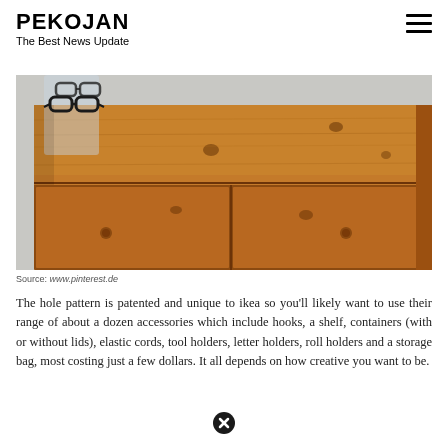PEKOJAN
The Best News Update
[Figure (photo): A pine wood chest of drawers with visible knots and grain, two drawers visible at the bottom. On top sits an acrylic or glass eyeglasses display stand holding a pair of black-framed glasses. Room with white walls in background.]
Source: www.pinterest.de
The hole pattern is patented and unique to ikea so you'll likely want to use their range of about a dozen accessories which include hooks, a shelf, containers (with or without lids), elastic cords, tool holders, letter holders, roll holders and a storage bag, most costing just a few dollars. It all depends on how creative you want to be.